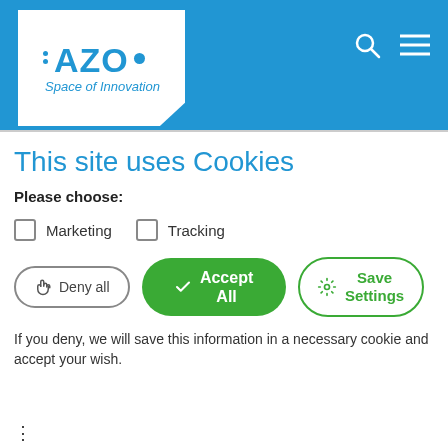[Figure (logo): AZO Space of Innovation logo — white angled box on blue header background, with blue AZO text and dots, italic tagline 'Space of Innovation']
This site uses Cookies
Please choose:
Marketing
Tracking
Deny all | Accept All | Save Settings
If you deny, we will save this information in a necessary cookie and accept your wish.